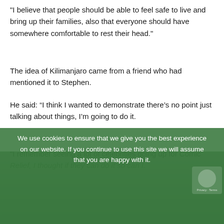"I believe that people should be able to feel safe to live and bring up their families, also that everyone should have somewhere comfortable to rest their head."
The idea of Kilimanjaro came from a friend who had mentioned it to Stephen.
He said: “I think I wanted to demonstrate there’s no point just talking about things, I’m going to do it.
"I remember seeing a lot of celebrities going up for Comic Relief, I thought if they can do it so can I.
We use cookies to ensure that we give you the best experience on our website. If you continue to use this site we will assume that you are happy with it.
[Figure (photo): Green-tinted image partially visible at the bottom of the page beneath the cookie consent overlay]